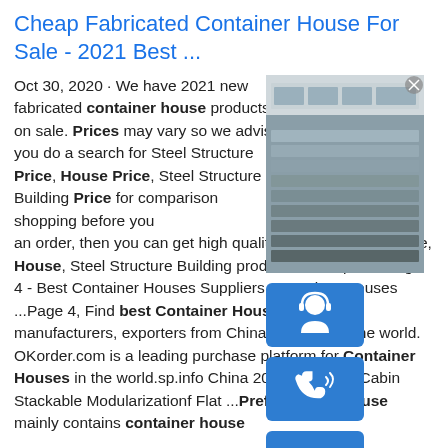Cheap Fabricated Container House For Sale - 2021 Best ...
Oct 30, 2020 · We have 2021 new fabricated container house products on sale. Prices may vary so we advise you do a search for Steel Structure Price, House Price, Steel Structure Building Price for comparison shopping before you an order, then you can get high quality & low price Structure, House, Steel Structure Building products here.sp.info Page 4 - Best Container Houses Suppliers, Container Houses ...Page 4, Find best Container Houses suppliers, manufacturers, exporters from China and around the world. OKorder.com is a leading purchase platform for Container Houses in the world.sp.info China 20 Feet Prefab Cabin Stackable Modularizationf Flat ...Prefabricated house mainly contains container house
[Figure (photo): Photo of stacked metal building/container panels at a manufacturing facility, with a building visible in the background]
[Figure (illustration): Blue customer service icon (headset/support agent silhouette)]
[Figure (illustration): Blue phone/call icon]
[Figure (illustration): Blue Skype icon (S logo)]